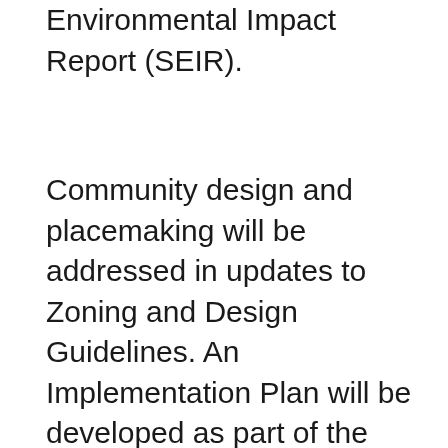Environmental Impact Report (SEIR).
Community design and placemaking will be addressed in updates to Zoning and Design Guidelines. An Implementation Plan will be developed as part of the Final Community Plan update to outline and prioritize potential projects that will assist in the implementation of the